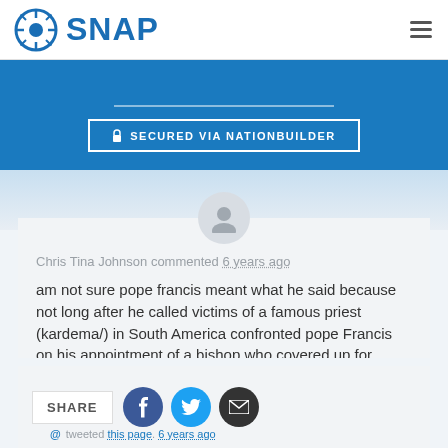SNAP
SECURED VIA NATIONBUILDER
Chris Tina Johnson commented 6 years ago
am not sure pope francis meant what he said because not long after he called victims of a famous priest (kardema/) in South America confronted pope Francis on his appointment of a bishop who covered up for Kardema)
SHARE @ tweeted this page. 6 years ago